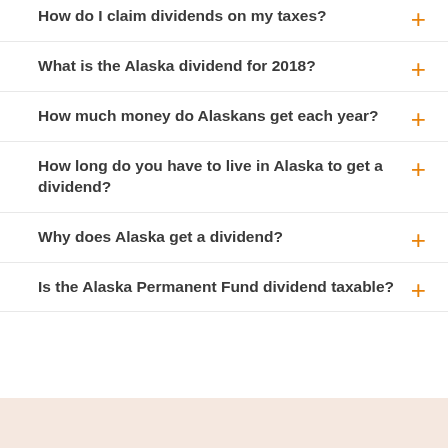How do I claim dividends on my taxes?
What is the Alaska dividend for 2018?
How much money do Alaskans get each year?
How long do you have to live in Alaska to get a dividend?
Why does Alaska get a dividend?
Is the Alaska Permanent Fund dividend taxable?